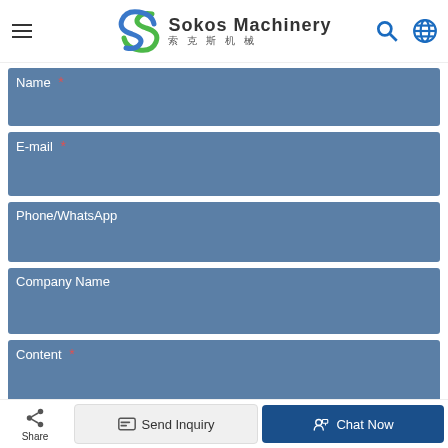Sokos Machinery (索克斯机械) — navigation header with menu, logo, search, globe icons
Name *
E-mail *
Phone/WhatsApp
Company Name
Content *
Share | Send Inquiry | Chat Now